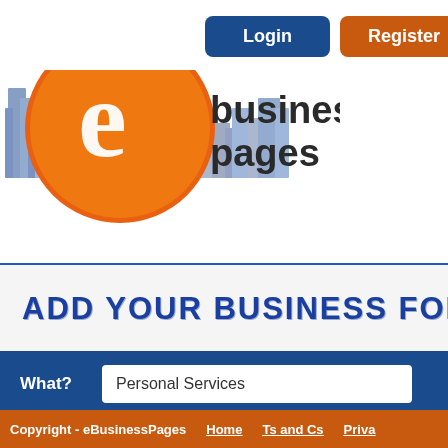[Figure (logo): eBusinessPages logo with orange circle 'e' icon and city buildings silhouette, text 'business pages' in dark gray]
[Figure (screenshot): Login button (blue) and Register button (orange) in top navigation]
ADD YOUR BUSINESS FOR FR...
What? Personal Services
Where? Elizabeth,NJ
Copyright - eBusinessPages   Home   Ts and Cs   Priva...